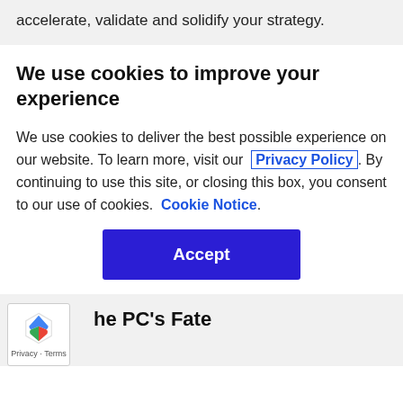accelerate, validate and solidify your strategy.
We use cookies to improve your experience
We use cookies to deliver the best possible experience on our website. To learn more, visit our  Privacy Policy . By continuing to use this site, or closing this box, you consent to our use of cookies.  Cookie Notice .
Accept
he PC's Fate
Privacy · Terms